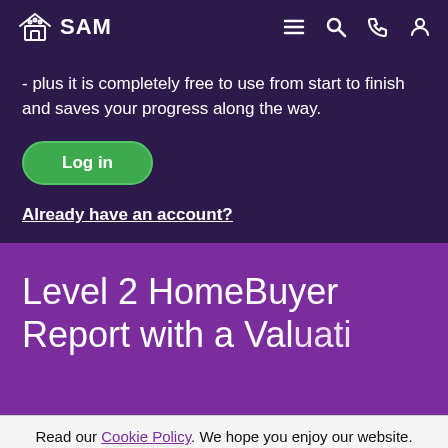SAM - navigation bar with logo, hamburger menu, search, phone, and account icons
- plus it is completely free to use from start to finish and saves your progress along the way.
Log in
Already have an account?
Level 2 HomeBuyer Report with a Valuation
Read our Cookie Policy. We hope you enjoy our website.
OK